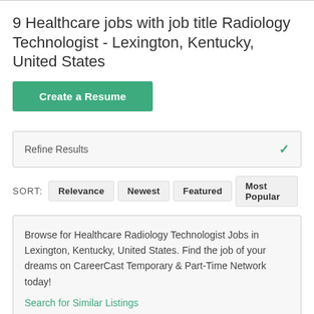9 Healthcare jobs with job title Radiology Technologist - Lexington, Kentucky, United States
Create a Resume
Refine Results
SORT: Relevance Newest Featured Most Popular
Browse for Healthcare Radiology Technologist Jobs in Lexington, Kentucky, United States. Find the job of your dreams on CareerCast Temporary & Part-Time Network today! Search for Similar Listings
21 days old